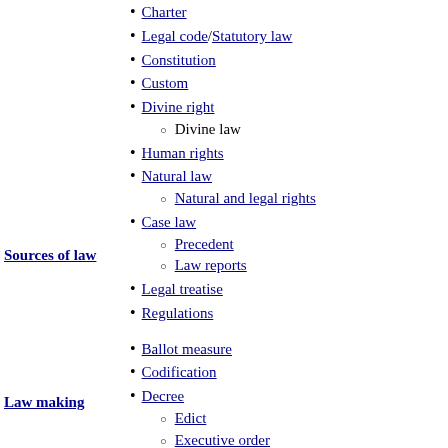Charter
Legal code / Statutory law
Constitution
Custom
Divine right
Divine law (sub-item)
Human rights
Sources of law
Natural law
Natural and legal rights (sub-item)
Case law
Precedent (sub-item)
Law reports (sub-item)
Legal treatise
Regulations
Ballot measure
Codification
Decree
Edict (sub-item)
Executive order (sub-item)
Proclamation (sub-item)
Legislation
Delegated legislation (sub-item)
Regulation (sub-item)
Rulemaking (sub-item)
Law making
Promulgation